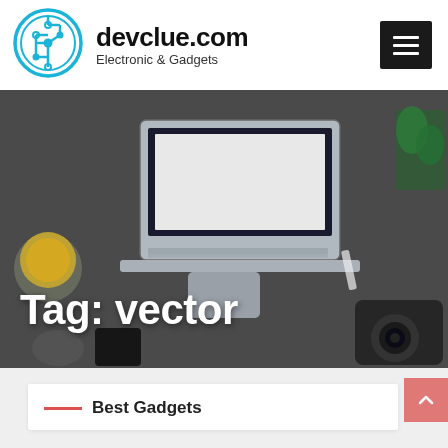[Figure (logo): devclue.com circuit board logo — blue circular icon with circuit traces]
devclue.com
Electronic & Gadgets
[Figure (screenshot): Navigation hamburger menu icon — three white horizontal lines on black background]
[Figure (photo): Overhead/top-down photo of a desk with a laptop, coffee cup, plant, camera, mouse, and phone in dark overlay]
Tag: vector
Best Gadgets